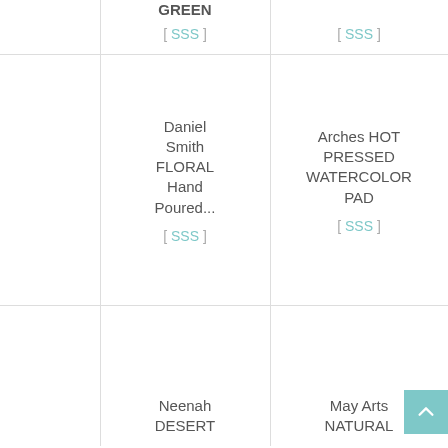| GREEN
[ SSS ] | [ SSS ] |  |
| Daniel Smith FLORAL Hand Poured...
[ SSS ] | Arches HOT PRESSED WATERCOLOR PAD
[ SSS ] | Ar... WA... |
| Neenah DESERT | May Arts NATURAL | D... |